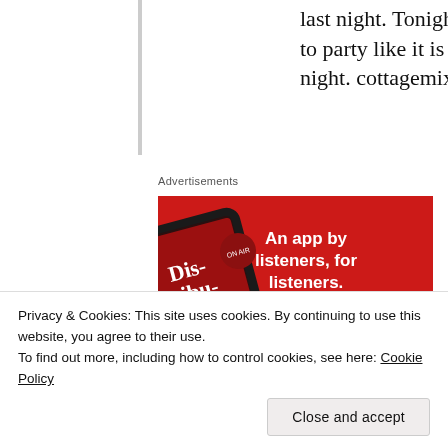last night. Tonight we are going to party like it is the last night. cottagemixtape.com
Advertisements
[Figure (illustration): Advertisement banner with red background showing a smartphone displaying a podcast app with 'Dis-tribu-ted' text, alongside bold white text reading 'An app by listeners, for listeners.' and a dark red 'Download now' button.]
Privacy & Cookies: This site uses cookies. By continuing to use this website, you agree to their use.
To find out more, including how to control cookies, see here: Cookie Policy
Close and accept